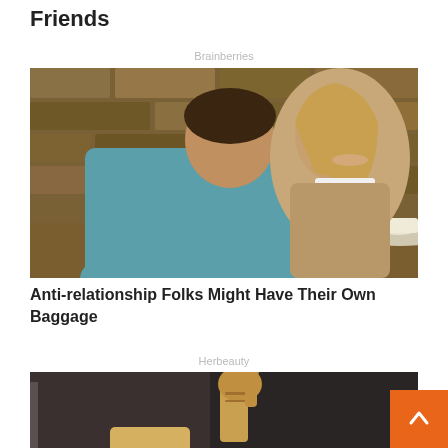Friends
Brainberries
[Figure (photo): A man leaning close to whisper in a smiling woman's ear at a cafe with stone wall background and coffee cups on the table]
Anti-relationship Folks Might Have Their Own Baggage
Herbeauty
[Figure (photo): A tabby cat reaching up with a child visible below, dark interior background]